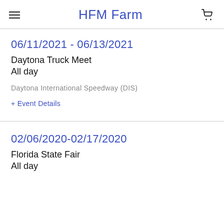HFM Farm
06/11/2021 - 06/13/2021
Daytona Truck Meet
All day
Daytona International Speedway (DIS)
+ Event Details
02/06/2020-02/17/2020
Florida State Fair
All day